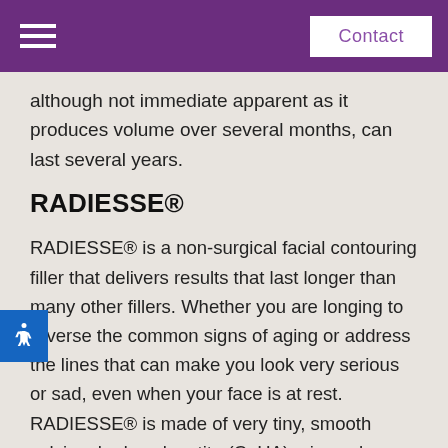Contact
although not immediate apparent as it produces volume over several months, can last several years.
RADIESSE®
RADIESSE® is a non-surgical facial contouring filler that delivers results that last longer than many other fillers. Whether you are longing to reverse the common signs of aging or address the lines that can make you look very serious or sad, even when your face is at rest. RADIESSE® is made of very tiny, smooth calcium hydroxylapatite (CaHA) microspheres. These particles form a scaffold through which your body's own collagen grows and this